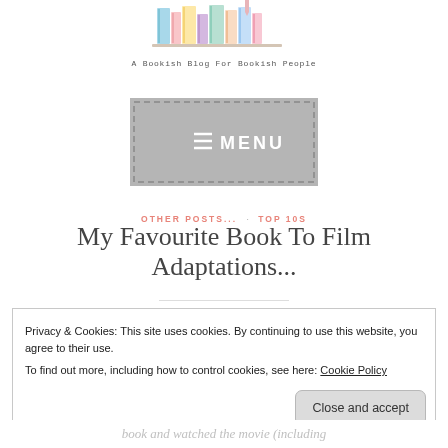[Figure (illustration): Colorful stack of books illustration — blog logo with pastel-colored books]
A Bookish Blog For Bookish People
[Figure (screenshot): Grey navigation menu button with hamburger icon and text MENU, dashed border]
OTHER POSTS... · TOP 10S
My Favourite Book To Film Adaptations...
Privacy & Cookies: This site uses cookies. By continuing to use this website, you agree to their use.
To find out more, including how to control cookies, see here: Cookie Policy
Close and accept
book and watched the movie (including